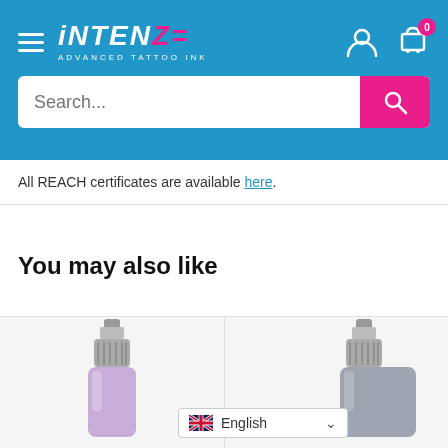iNTENZE ADVANCED TATTOO INK — navigation header with search bar
All REACH certificates are available here.
You may also like
[Figure (photo): Tattoo ink bottle with lavender/purple color partially visible]
[Figure (photo): Tattoo ink bottle partially visible on right side]
English (language selector dropdown)